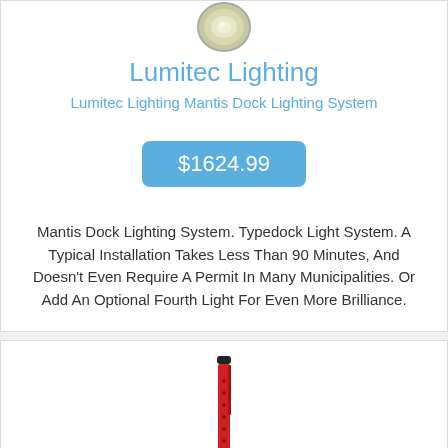[Figure (photo): Circular product image of a Lumitec lighting fixture, viewed from above]
Lumitec Lighting
Lumitec Lighting Mantis Dock Lighting System
$1624.99
Mantis Dock Lighting System. Typedock Light System. A Typical Installation Takes Less Than 90 Minutes, And Doesn't Even Require A Permit In Many Municipalities. Or Add An Optional Fourth Light For Even More Brilliance.
[Figure (photo): Red pen-shaped flashlight or torch product, shown vertically]